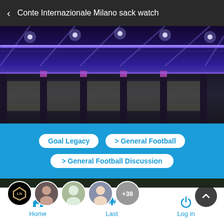< Conte Internazionale Milano sack watch
[Figure (photo): Stadium interior with purple/blue lighting, structural beams and illuminated ceiling]
Goal Legacy > General Football > General Football Discussion
[Figure (photo): City street scene at night with vehicles and pedestrians, overlaid with user avatars (+38)]
Home  Last  Log in